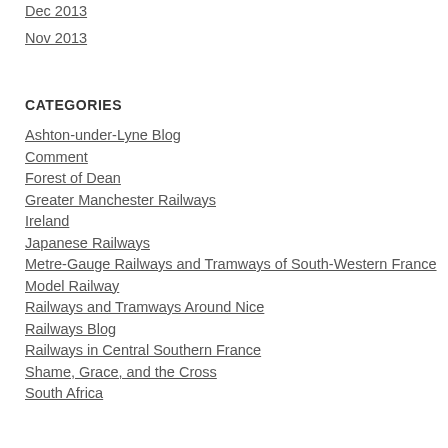Dec 2013
Nov 2013
CATEGORIES
Ashton-under-Lyne Blog
Comment
Forest of Dean
Greater Manchester Railways
Ireland
Japanese Railways
Metre-Gauge Railways and Tramways of South-Western France
Model Railway
Railways and Tramways Around Nice
Railways Blog
Railways in Central Southern France
Shame, Grace, and the Cross
South Africa